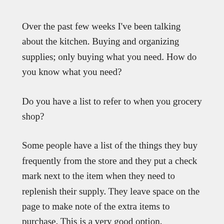Over the past few weeks I've been talking about the kitchen. Buying and organizing supplies; only buying what you need. How do you know what you need?
Do you have a list to refer to when you grocery shop?
Some people have a list of the things they buy frequently from the store and they put a check mark next to the item when they need to replenish their supply. They leave space on the page to make note of the extra items to purchase. This is a very good option.